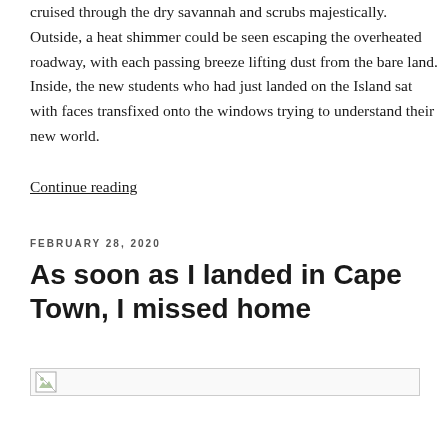cruised through the dry savannah and scrubs majestically. Outside, a heat shimmer could be seen escaping the overheated roadway, with each passing breeze lifting dust from the bare land. Inside, the new students who had just landed on the Island sat with faces transfixed onto the windows trying to understand their new world.
Continue reading
FEBRUARY 28, 2020
As soon as I landed in Cape Town, I missed home
[Figure (photo): Broken/missing image placeholder]